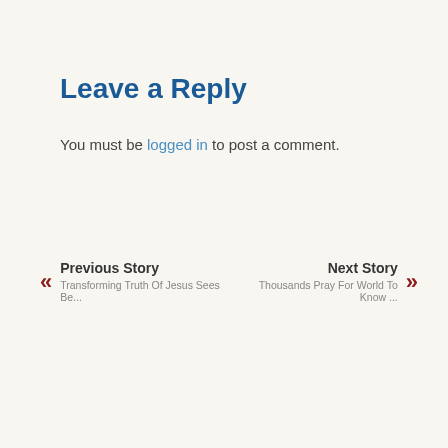Leave a Reply
You must be logged in to post a comment.
«  Previous Story  Transforming Truth Of Jesus Sees Be...   Next Story  Thousands Pray For World To Know ...  »